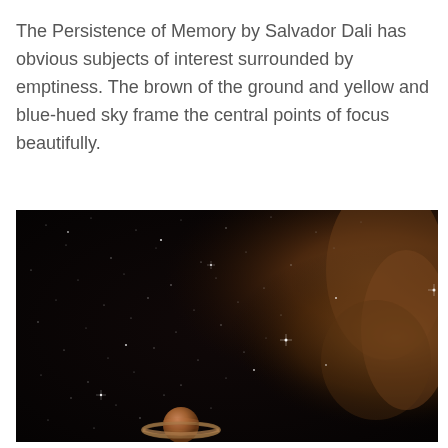The Persistence of Memory by Salvador Dali has obvious subjects of interest surrounded by emptiness. The brown of the ground and yellow and blue-hued sky frame the central points of focus beautifully.
[Figure (photo): A dark space scene with scattered stars and a nebula-like warm brown/orange cloud on the right side, with a ringed planet (Saturn-like) visible at the bottom center of the image.]